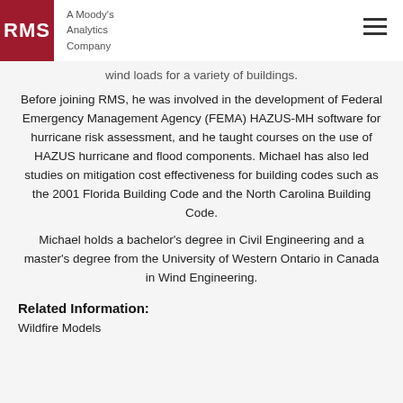RMS | A Moody's Analytics Company
wind loads for a variety of buildings.
Before joining RMS, he was involved in the development of Federal Emergency Management Agency (FEMA) HAZUS-MH software for hurricane risk assessment, and he taught courses on the use of HAZUS hurricane and flood components. Michael has also led studies on mitigation cost effectiveness for building codes such as the 2001 Florida Building Code and the North Carolina Building Code.
Michael holds a bachelor's degree in Civil Engineering and a master's degree from the University of Western Ontario in Canada in Wind Engineering.
Related Information:
Wildfire Models